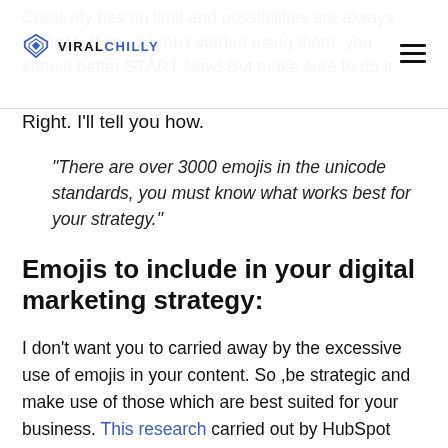VIRALCHILLY
Creativity has no limit and possibilities are always endless. If you haven't started using them, you should better START Now! But make sure to do it Right. I'll tell you how.
“There are over 3000 emojis in the unicode standards, you must know what works best for your strategy.”
Emojis to include in your digital marketing strategy:
I don’t want you to carried away by the excessive use of emojis in your content. So ,be strategic and make use of those which are best suited for your business. This research carried out by HubSpot was a great help for me.